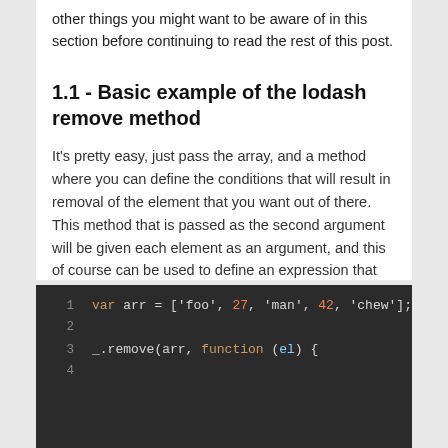other things you might want to be aware of in this section before continuing to read the rest of this post.
1.1 - Basic example of the lodash remove method
It's pretty easy, just pass the array, and a method where you can define the conditions that will result in removal of the element that you want out of there. This method that is passed as the second argument will be given each element as an argument, and this of course can be used to define an expression that will evaluate to true or false. The return keyword can then be used in the body of that method, and if a true value is returned then the element in question will be removed from the array in place.
[Figure (screenshot): Code block showing JavaScript: var arr = ['foo', 27, 'man', 42, 'chew']; and _.remove(arr, function (el) {]